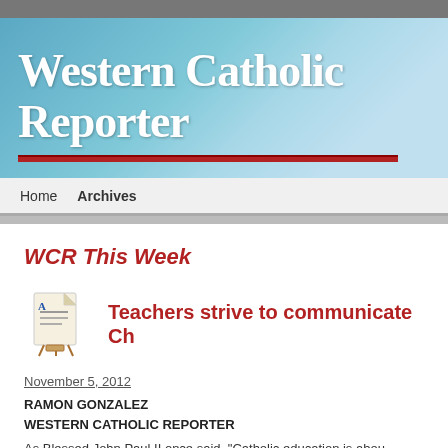Western Catholic Reporter
Home   Archives
WCR This Week
Teachers strive to communicate Ch
November 5, 2012
RAMON GONZALEZ
WESTERN CATHOLIC REPORTER
As Blessed John Paul II once said, "Catholic education is abou..."